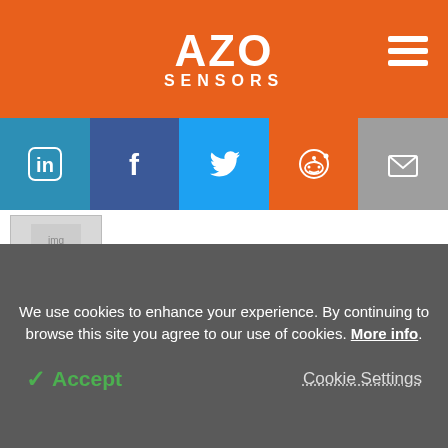AZO SENSORS
[Figure (screenshot): Social media share buttons: LinkedIn, Facebook, Twitter, Reddit, Email]
[Figure (photo): Newsletter thumbnail image]
See all Newsletters »
Other Sites from AZoNetwork
We use cookies to enhance your experience. By continuing to browse this site you agree to our use of cookies. More info.
✓ Accept
Cookie Settings